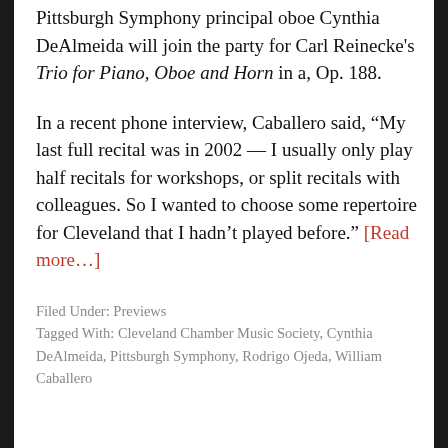Pittsburgh Symphony principal oboe Cynthia DeAlmeida will join the party for Carl Reinecke's Trio for Piano, Oboe and Horn in a, Op. 188.
In a recent phone interview, Caballero said, “My last full recital was in 2002 — I usually only play half recitals for workshops, or split recitals with colleagues. So I wanted to choose some repertoire for Cleveland that I hadn’t played before.” [Read more...]
Filed Under: Previews
Tagged With: Cleveland Chamber Music Society, Cynthia DeAlmeida, Pittsburgh Symphony, Rodrigo Ojeda, William Caballero